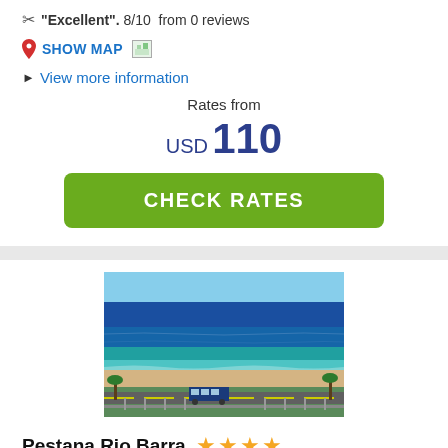"Excellent". 8/10 from 0 reviews
SHOW MAP
View more information
Rates from
USD 110
CHECK RATES
[Figure (photo): Aerial view of a beach with turquoise and deep blue ocean water, sandy shoreline, and a road with a bus visible at the bottom]
Pestana Rio Barra ★★★★